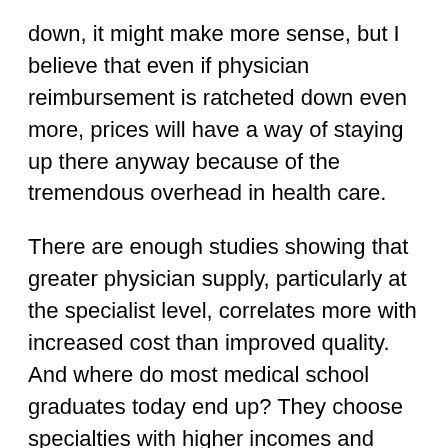down, it might make more sense, but I believe that even if physician reimbursement is ratcheted down even more, prices will have a way of staying up there anyway because of the tremendous overhead in health care.
There are enough studies showing that greater physician supply, particularly at the specialist level, correlates more with increased cost than improved quality. And where do most medical school graduates today end up? They choose specialties with higher incomes and better life styles than Primary Care offers in today's climate. Right now our little community is trying to recruit one or two new Family Physicians, so I know first hand how few new graduates want my kind of job. At the same time, I read advertisements in the City paper, where Family Doctors are offering laser skin jobs (for cash) instead of accepting Primary Care patients and the restricted health